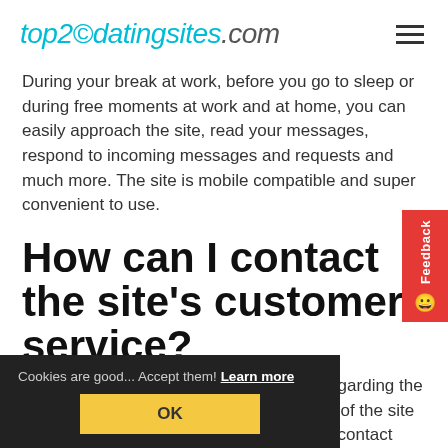top2@datingsites.com
During your break at work, before you go to sleep or during free moments at work and at home, you can easily approach the site, read your messages, respond to incoming messages and requests and much more. The site is mobile compatible and super convenient to use.
How can I contact the site's customer service?
If you have any questions or comments regarding the site or do you notice that certain functions of the site do not work optimally? Please feel free to contact Free Friends Online customer service by filling in the online contact form
[Figure (screenshot): Cookie consent banner with dark background reading 'Cookies are good... Accept them! Learn more' and a yellow OK button.]